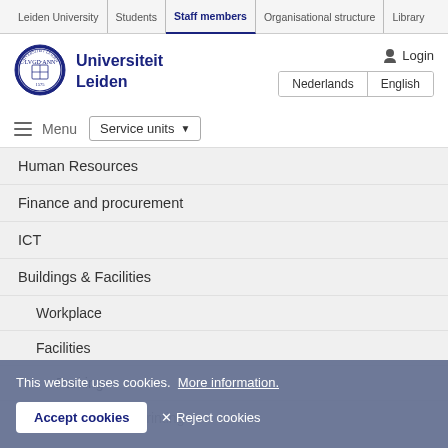Leiden University | Students | Staff members | Organisational structure | Library
[Figure (logo): Leiden University circular seal/crest logo in dark blue]
Universiteit Leiden
Login
Nederlands | English
≡ Menu  Service units ▼
Human Resources
Finance and procurement
ICT
Buildings & Facilities
Workplace
Facilities
Parking
Copying and printing
This website uses cookies.  More information.
Accept cookies   ✕ Reject cookies